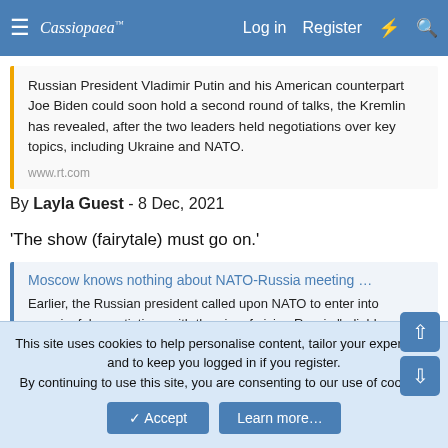Cassiopaea Forum — Log in  Register
Russian President Vladimir Putin and his American counterpart Joe Biden could soon hold a second round of talks, the Kremlin has revealed, after the two leaders held negotiations over key topics, including Ukraine and NATO.
www.rt.com
By Layla Guest - 8 Dec, 2021
'The show (fairytale) must go on.'
Moscow knows nothing about NATO-Russia meeting …
Earlier, the Russian president called upon NATO to enter into meaningful negotiations with the aim of giving Russia "reliable and long-term security guarantees"
This site uses cookies to help personalise content, tailor your experience and to keep you logged in if you register.
By continuing to use this site, you are consenting to our use of cookies.